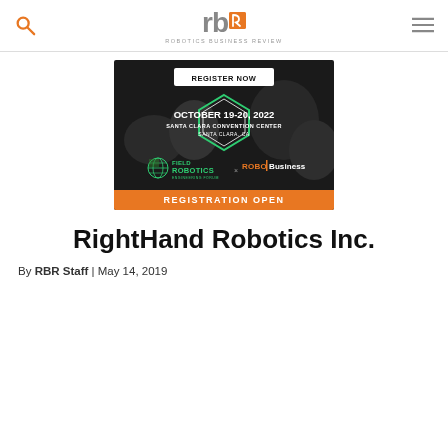Robotics Business Review — rb logo with search and menu
[Figure (infographic): Advertisement for RoboBusiness event: REGISTER NOW / OCTOBER 19-20, 2022 / SANTA CLARA CONVENTION CENTER / SANTA CLARA, CA / Field Robotics Engineering Forum x RoboBusiness / REGISTRATION OPEN]
RightHand Robotics Inc.
By RBR Staff | May 14, 2019